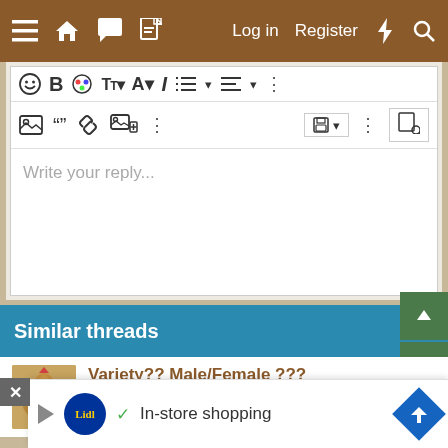Log in  Register
[Figure (screenshot): Forum text editor toolbar with formatting icons: emoji, bold, text color, font size, font color, italic, list, alignment, more options; second row: image, quote, link, inline image, more, draft save, more, preview button]
Write your reply...
Post reply
Similar threads
Variety?? Male/Female ???
Saraley · Turkeys
Replies: 1 · Apr 1, 2022
[Figure (photo): Thumbnail of a turkey]
In-store shopping
[Figure (logo): Lidl logo]